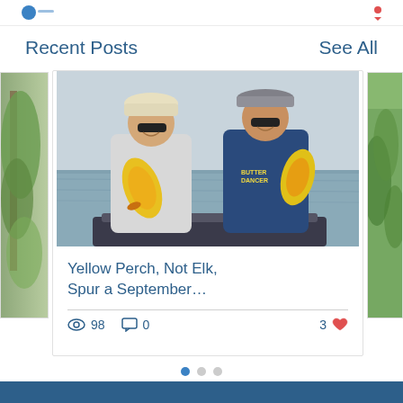Recent Posts
See All
[Figure (photo): Photo of two people on a boat holding up yellow perch fish, with water in the background. The woman on the left wears a light gray hoodie and white cap with sunglasses; the man on the right wears a blue vest and gray cap with sunglasses.]
Yellow Perch, Not Elk, Spur a September…
👁 98   💬 0   3 ♥